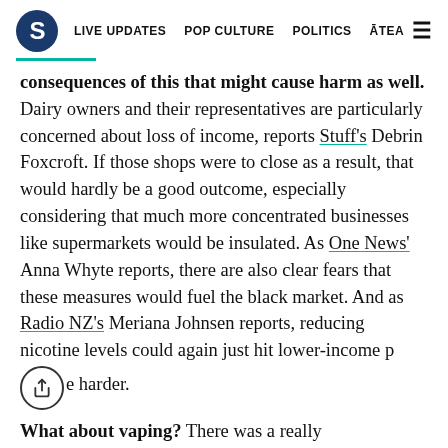S | LIVE UPDATES | POP CULTURE | POLITICS | ĀTEA
consequences of this that might cause harm as well. Dairy owners and their representatives are particularly concerned about loss of income, reports Stuff's Debrin Foxcroft. If those shops were to close as a result, that would hardly be a good outcome, especially considering that much more concentrated businesses like supermarkets would be insulated. As One News' Anna Whyte reports, there are also clear fears that these measures would fuel the black market. And as Radio NZ's Meriana Johnsen reports, reducing nicotine levels could again just hit lower-income people harder.
What about vaping? There was a really